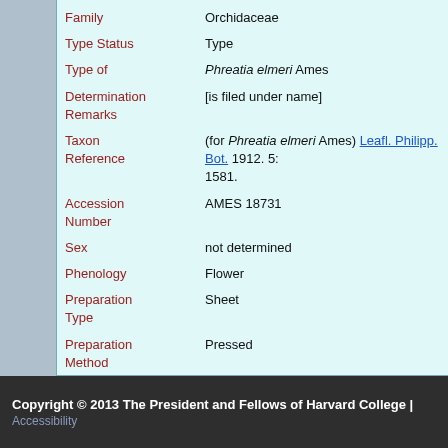| Field | Value |
| --- | --- |
| Family | Orchidaceae |
| Type Status | Type |
| Type of | Phreatia elmeri Ames |
| Determination Remarks | [is filed under name] |
| Taxon Reference | (for Phreatia elmeri Ames) Leafl. Philipp. Bot. 1912. 5: 1581. |
| Accession Number | AMES 18731 |
| Sex | not determined |
| Phenology | Flower |
| Preparation Type | Sheet |
| Preparation Method | Pressed |
Copyright © 2013 The President and Fellows of Harvard College | Accessibility